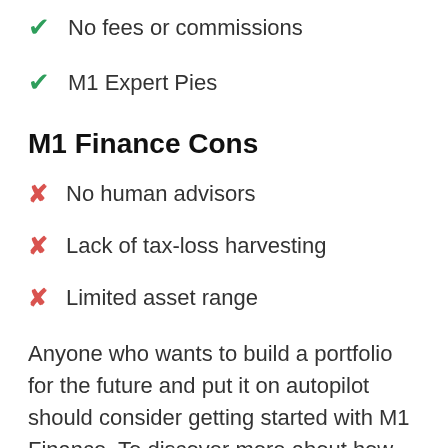✔ No fees or commissions
✔ M1 Expert Pies
M1 Finance Cons
✗ No human advisors
✗ Lack of tax-loss harvesting
✗ Limited asset range
Anyone who wants to build a portfolio for the future and put it on autopilot should consider getting started with M1 Finance. To discover more about how the platform works, read our detailed